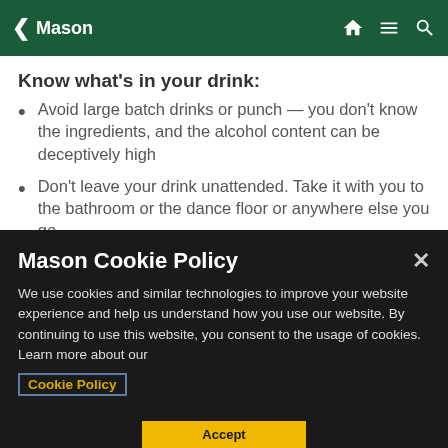Mason
Know what's in your drink:
Avoid large batch drinks or punch — you don't know the ingredients, and the alcohol content can be deceptively high
Don't leave your drink unattended. Take it with you to the bathroom or the dance floor or anywhere else you go.
Stick to bottled or canned beverages — something with a lid you remove yourself — or watch it being poured at the bar
Mason Cookie Policy
We use cookies and similar technologies to improve your website experience and help us understand how you use our website. By continuing to use this website, you consent to the usage of cookies. Learn more about our Cookie Policy